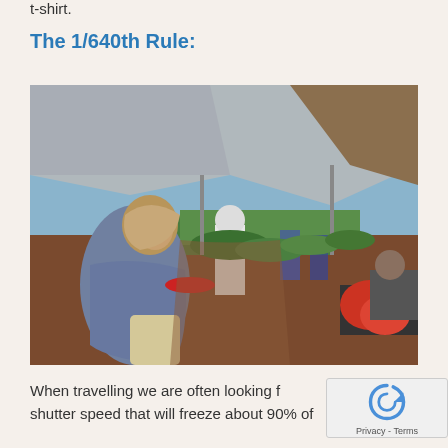t-shirt.
The 1/640th Rule:
[Figure (photo): Outdoor market scene with vendor stalls covered by large canopies/tarps, displaying fresh vegetables and produce. In the foreground, an elderly woman wearing a headscarf and shawl walks through the market. Many shoppers and vendors visible in the background among colorful produce displays.]
When travelling we are often looking f... shutter speed that will freeze about 90% of